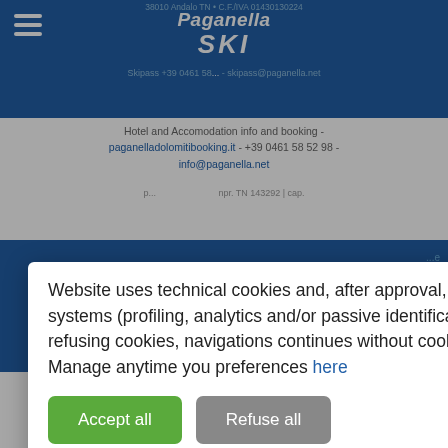38010 Andalo TN • C.F./IVA 01430130224
Skipass +39 0461 58... - skipass@paganella.net
[Figure (logo): Paganella SKI logo in white text on blue background]
Hotel and Accomodation info and booking - paganelladolomitibooking.it - +39 0461 58 52 98 - info@paganella.net
p... npr. TN 143292 | cap. ...
...policy
Website uses technical cookies and, after approval, can use also other tracking systems (profiling, analytics and/or passive identificators). Closing the banner or refusing cookies, navigations continues without cookies, except essential ones. Manage anytime you preferences here
Accept all
Refuse all
Full policy
Manage preferences
[Figure (logo): Trentino logo with colored letters ENTINO visible at bottom right]